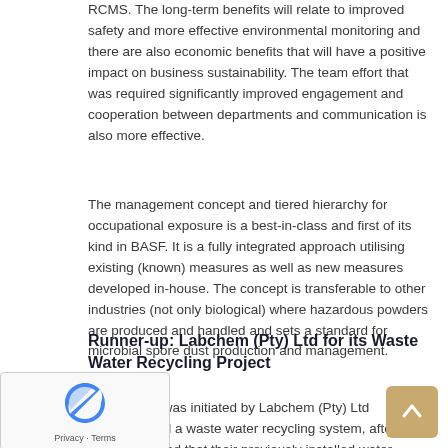RCMS. The long-term benefits will relate to improved safety and more effective environmental monitoring and there are also economic benefits that will have a positive impact on business sustainability. The team effort that was required significantly improved engagement and cooperation between departments and communication is also more effective.
The management concept and tiered hierarchy for occupational exposure is a best-in-class and first of its kind in BASF. It is a fully integrated approach utilising existing (known) measures as well as new measures developed in-house. The concept is transferable to other industries (not only biological) where hazardous powders are produced and handled and sets a standard for microbial spore dust production and management.
Runner-up: Labchem (Pty) Ltd for its Waste Water Recycling Project
e-off project was initiated by Labchem (Pty) Ltd (Labche… tall a waste water recycling system, after it was discovered that their previously installed water purification equipment was…